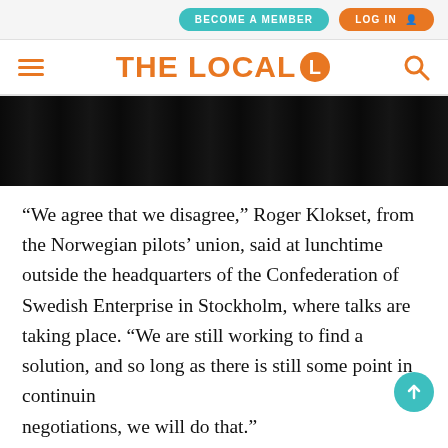BECOME A MEMBER   LOG IN
[Figure (logo): The Local logo with orange hamburger menu, orange THE LOCAL L logo, and orange search icon]
[Figure (photo): Dark night forest/tree photo banner]
“We agree that we disagree,” Roger Klokset, from the Norwegian pilots’ union, said at lunchtime outside the headquarters of the Confederation of Swedish Enterprise in Stockholm, where talks are taking place. “We are still working to find a solution, and so long as there is still some point in continuing negotiations, we will do that.”